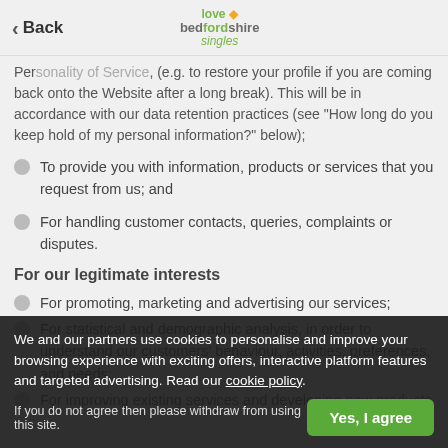Back | love bedfordshire singles
Personaliy of Service, (e.g. to restore your profile if you are coming back onto the Website after a long break). This will be in accordance with our data retention practices (see "How long do you keep hold of my personal information?" below);
To provide you with information, products or services that you request from us; and
For handling customer contacts, queries, complaints or disputes.
For our legitimate interests
For promoting, marketing and advertising our services;
For statistical and demographic analysis, in order to understand our customers' behaviour, activities, preferences, and needs;
For improving existing services and developing new products
We and our partners use cookies to personalise and improve your browsing experience with exciting offers, interactive platform features and targeted advertising. Read our cookie policy.
If you do not agree then please withdraw from using this site.